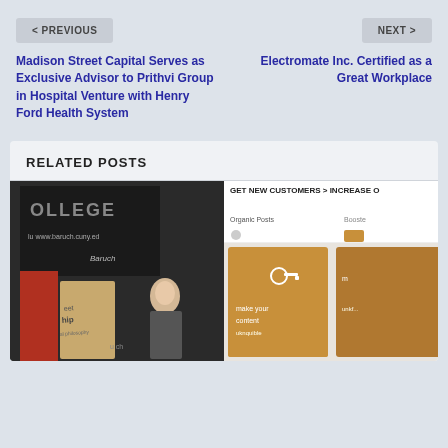< PREVIOUS
Madison Street Capital Serves as Exclusive Advisor to Prithvi Group in Hospital Venture with Henry Ford Health System
NEXT >
Electromate Inc. Certified as a Great Workplace
RELATED POSTS
[Figure (photo): Two photos side by side: left shows a college banner event with a man standing in front of Baruch College signage (www.baruch.cuny.edu), with red and beige book/notebook props and leadership branding; right shows a screenshot of a social media advertising interface with the text 'GET NEW CUSTOMERS > INCREASE O...' and 'Organic Posts', 'Booste...' tabs, and content cards with images.]